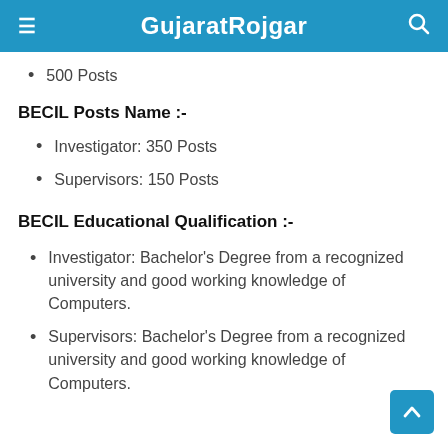GujaratRojgar
500 Posts
BECIL Posts Name :-
Investigator: 350 Posts
Supervisors: 150 Posts
BECIL Educational Qualification :-
Investigator: Bachelor's Degree from a recognized university and good working knowledge of Computers.
Supervisors: Bachelor's Degree from a recognized university and good working knowledge of Computers.